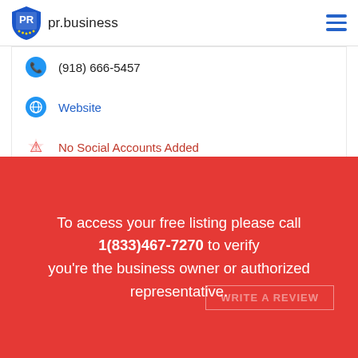pr.business
(918) 666-5457
Website
No Social Accounts Added
Review Summary
To access your free listing please call 1(833)467-7270 to verify you're the business owner or authorized representative.